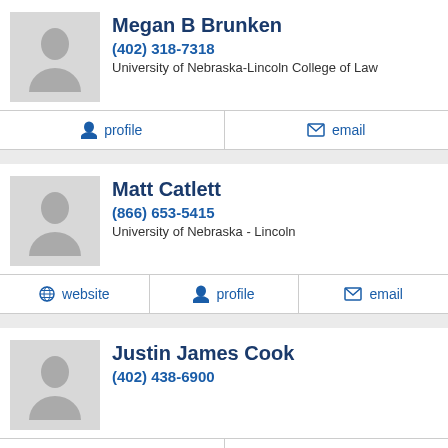Megan B Brunken
(402) 318-7318
University of Nebraska-Lincoln College of Law
profile
email
Matt Catlett
(866) 653-5415
University of Nebraska - Lincoln
website
profile
email
Justin James Cook
(402) 438-6900
profile
email